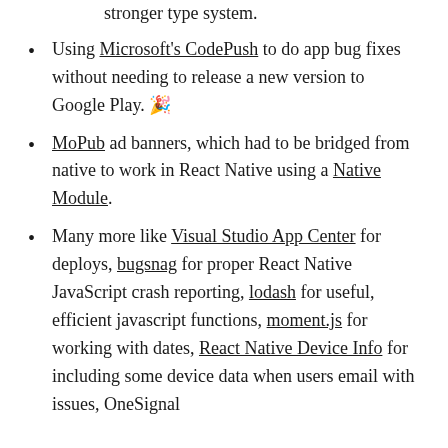stronger type system.
Using Microsoft's CodePush to do app bug fixes without needing to release a new version to Google Play. 🎉
MoPub ad banners, which had to be bridged from native to work in React Native using a Native Module.
Many more like Visual Studio App Center for deploys, bugsnag for proper React Native JavaScript crash reporting, lodash for useful, efficient javascript functions, moment.js for working with dates, React Native Device Info for including some device data when users email with issues, OneSignal